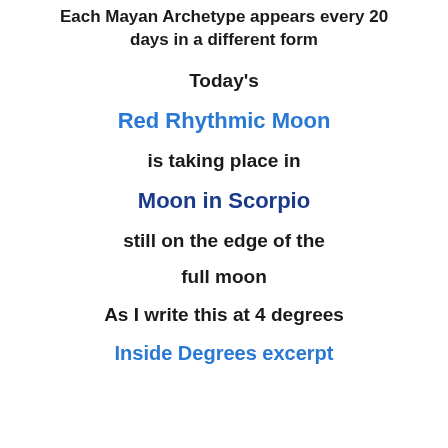Each Mayan Archetype appears every 20 days in a different form
Today's
Red Rhythmic Moon
is taking place in
Moon in Scorpio
still on the edge of the
full moon
As I write this at 4 degrees
Inside Degrees excerpt